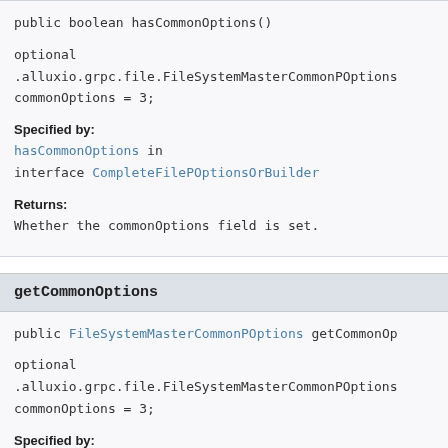public boolean hasCommonOptions()
optional .alluxio.grpc.file.FileSystemMasterCommonPOptions commonOptions = 3;
Specified by:
hasCommonOptions in interface CompleteFilePOptionsOrBuilder
Returns:
Whether the commonOptions field is set.
getCommonOptions
public FileSystemMasterCommonPOptions getCommonOp
optional .alluxio.grpc.file.FileSystemMasterCommonPOptions commonOptions = 3;
Specified by: